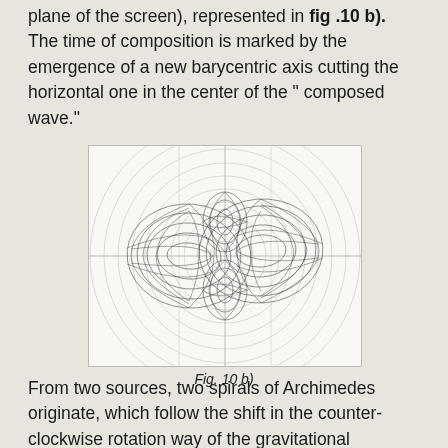plane of the screen), represented in fig .10 b). The time of composition is marked by the emergence of a new barycentric axis cutting the horizontal one in the center of the " composed wave."
[Figure (continuous-plot): A 3D wireframe/mesh diagram showing a composed wave pattern — two large lobes oriented horizontally and two smaller lobes on the sides, with concentric circular gridlines in the background and crosshair axes, resembling a lemniscate or orbital pattern.]
Fig. 10 b)
From two sources, two spirals of Archimedes originate, which follow the shift in the counter-clockwise rotation way of the gravitational intensity